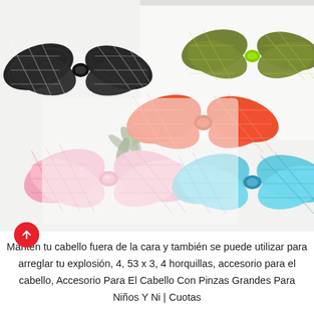[Figure (photo): Five decorative hair bows with crocodile/snake skin pattern texture arranged on a white surface. Colors: black (top left), olive green (top right), orange/red (center right), pink (bottom left), light blue/turquoise (bottom right).]
Mantén tu cabello fuera de la cara y también se puede utilizar para arreglar tu explosión, 4, 53 x 3, 4 horquillas, accesorio para el cabello, Accesorio Para El Cabello Con Pinzas Grandes Para Niños Y Ni | Cuotas